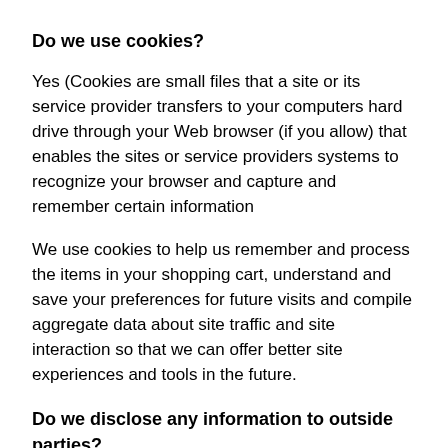Do we use cookies?
Yes (Cookies are small files that a site or its service provider transfers to your computers hard drive through your Web browser (if you allow) that enables the sites or service providers systems to recognize your browser and capture and remember certain information
We use cookies to help us remember and process the items in your shopping cart, understand and save your preferences for future visits and compile aggregate data about site traffic and site interaction so that we can offer better site experiences and tools in the future.
Do we disclose any information to outside parties?
We do not sell, trade, or otherwise transfer to outside parties your personally identifiable information. This